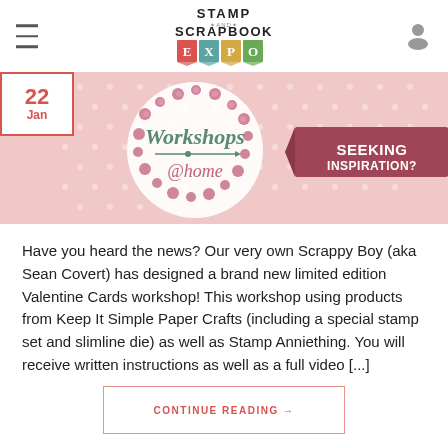Stamp and Scrapbook Expo
[Figure (illustration): Pink polka dot banner with floral wreath containing 'Workshops @home' text and dark pink ribbon saying 'SEEKING INSPIRATION?'. Date badge showing 22 Jan in top left corner.]
Have you heard the news? Our very own Scrappy Boy (aka Sean Covert) has designed a brand new limited edition Valentine Cards workshop! This workshop using products from Keep It Simple Paper Crafts (including a special stamp set and slimline die) as well as Stamp Anniething. You will receive written instructions as well as a full video [...]
CONTINUE READING →